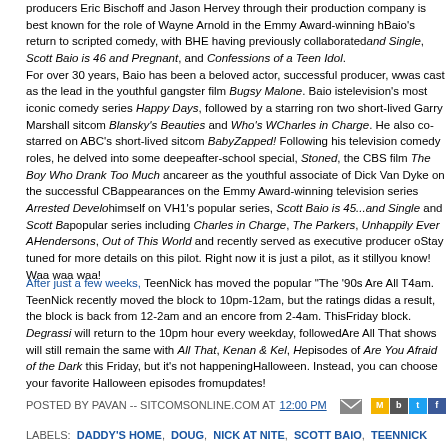producers Eric Bischoff and Jason Hervey through their production company is best known for the role of Wayne Arnold in the Emmy Award-winning h... Baio's return to scripted comedy, with BHE having previously collaborated ...and Single, Scott Baio is 46 and Pregnant, and Confessions of a Teen Idol. For over 30 years, Baio has been a beloved actor, successful producer, w... was cast as the lead in the youthful gangster film Bugsy Malone. Baio is television's most iconic comedy series Happy Days, followed by a starring r... on two short-lived Garry Marshall sitcom Blansky's Beauties and Who's W... Charles in Charge. He also co-starred on ABC's short-lived sitcom Baby ...Zapped! Following his television comedy roles, he delved into some deep... after-school special, Stoned, the CBS film The Boy Who Drank Too Much an... career as the youthful associate of Dick Van Dyke on the successful CB... appearances on the Emmy Award-winning television series Arrested Develo... himself on VH1's popular series, Scott Baio is 45...and Single and Scott Ba... popular series including Charles in Charge, The Parkers, Unhappily Ever A... Hendersons, Out of This World and recently served as executive producer o... Stay tuned for more details on this pilot. Right now it is just a pilot, as it still you know! Waa waa waa!
After just a few weeks, TeenNick has moved the popular "The '90s Are All ...4am. TeenNick recently moved the block to 10pm-12am, but the ratings did... as a result, the block is back from 12-2am and an encore from 2-4am. This Friday block. Degrassi will return to the 10pm hour every weekday, followed... Are All That shows will still remain the same with All That, Kenan & Kel, H... episodes of Are You Afraid of the Dark this Friday, but it's not happening... Halloween. Instead, you can choose your favorite Halloween episodes from... updates!
POSTED BY PAVAN -- SITCOMSONLINE.COM AT 12:00 PM
LABELS: DADDY'S HOME, DOUG, NICK AT NITE, SCOTT BAIO, TEENNICK